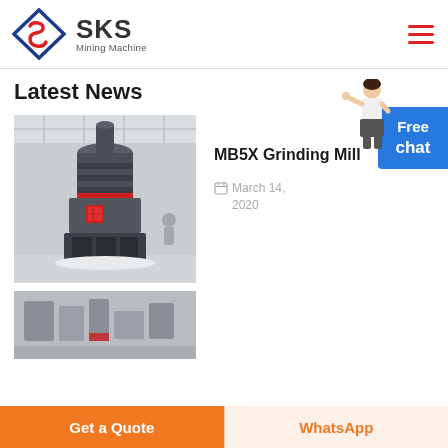[Figure (logo): SKS Mining Machine logo with diamond S icon in red and blue]
Latest News
[Figure (photo): Photo of MB5X Grinding Mill machine in industrial setting]
MB5X Grinding Mill
March 14, 2020
[Figure (photo): Second news item photo, partially visible, showing industrial equipment]
[Figure (illustration): Free chat button with woman figure pointing]
Get a Quote   WhatsApp